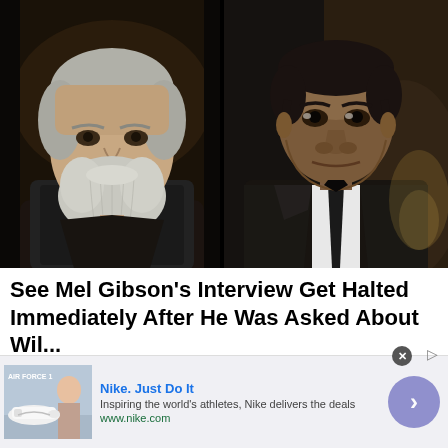[Figure (photo): Side-by-side photos: left shows Mel Gibson with grey beard in dark clothing against dark background; right shows Will Smith in a black suit at the Oscars ceremony]
See Mel Gibson's Interview Get Halted Immediately After He Was Asked About Wil...
After Mel Gibson was asked about Will Smith's incident at the Oscars, his interview was swiftly ended.
[Figure (screenshot): Advertisement banner for Nike. Just Do It — showing Nike Air Force 1 shoes image on left, ad text 'Nike. Just Do It / Inspiring the world's athletes, Nike delivers the deals / www.nike.com', and a blue circular arrow button on the right.]